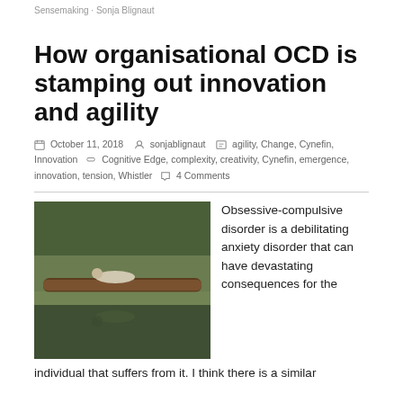Sensemaking · Sonja Blignaut
How organisational OCD is stamping out innovation and agility
October 11, 2018   sonjablignaut   agility, Change, Cynefin, Innovation   Cognitive Edge, complexity, creativity, Cynefin, emergence, innovation, tension, Whistler   4 Comments
[Figure (photo): Person lying on a fallen tree trunk over a reflective pool of water, surrounded by grass and trees. The scene is reflected in the still water below.]
Obsessive-compulsive disorder is a debilitating anxiety disorder that can have devastating consequences for the individual that suffers from it. I think there is a similar